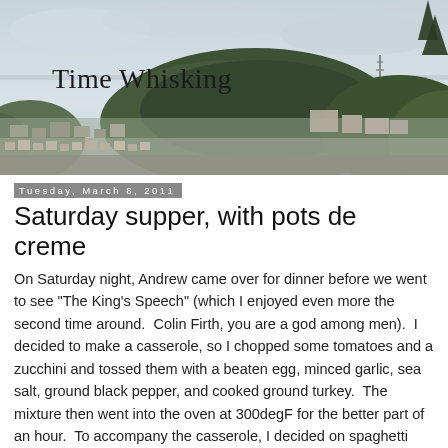[Figure (photo): Panoramic banner photo of a cityscape (San Francisco) with a large forested hill in the center, a radio/TV tower visible on the right hilltop, houses and buildings spread across the foreground, and an overcast sky. The blog title 'Time Whisking' is overlaid in an elegant serif font at the upper left.]
Time Whisking
Tuesday, March 8, 2011
Saturday supper, with pots de creme
On Saturday night, Andrew came over for dinner before we went to see "The King's Speech" (which I enjoyed even more the second time around.  Colin Firth, you are a god among men).  I decided to make a casserole, so I chopped some tomatoes and a zucchini and tossed them with a beaten egg, minced garlic, sea salt, ground black pepper, and cooked ground turkey.  The mixture then went into the oven at 300degF for the better part of an hour.  To accompany the casserole, I decided on spaghetti aglio e oano, following